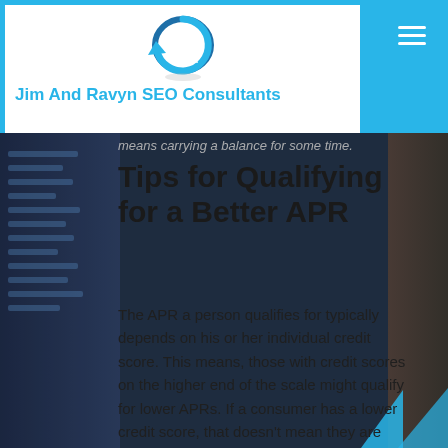Jim And Ravyn SEO Consultants
means carrying a balance for some time.
Tips for Qualifying for a Better APR
The APR a person qualifies for typically depends on his or her individual credit score. This means, those with credit scores on the higher end of the scale might qualify for lower APRs. If a consumer has a lower credit score, that doesn't mean they are totally out of luck, but might be offered the same card at a higher APR.